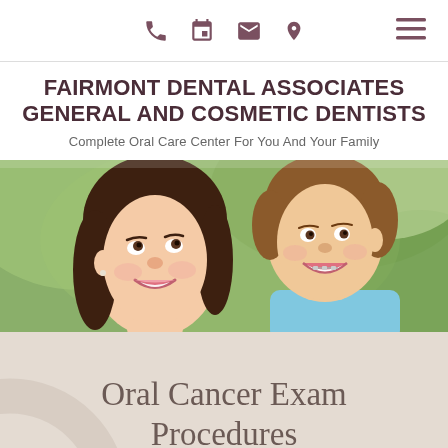[Navigation icons: phone, calendar, email, location, hamburger menu]
FAIRMONT DENTAL ASSOCIATES GENERAL AND COSMETIC DENTISTS
Complete Oral Care Center For You And Your Family
[Figure (photo): Photo of a smiling woman and a smiling boy outdoors with a green blurred background]
Oral Cancer Exam Procedures